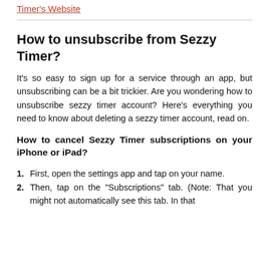Timer's Website
How to unsubscribe from Sezzy Timer?
It's so easy to sign up for a service through an app, but unsubscribing can be a bit trickier. Are you wondering how to unsubscribe sezzy timer account? Here's everything you need to know about deleting a sezzy timer account, read on.
How to cancel Sezzy Timer subscriptions on your iPhone or iPad?
First, open the settings app and tap on your name.
Then, tap on the "Subscriptions" tab. (Note: That you might not automatically see this tab. In that